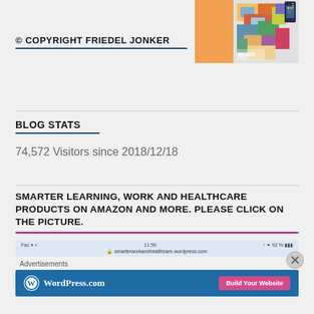[Figure (illustration): Colorful illustrated avatar/portrait in WPAP style on the top right]
© COPYRIGHT FRIEDEL JONKER
BLOG STATS
74,572 Visitors since 2018/12/18
SMARTER LEARNING, WORK AND HEALTHCARE PRODUCTS ON AMAZON AND MORE. PLEASE CLICK ON THE PICTURE.
[Figure (screenshot): Screenshot of smarterworkandhealthcare.wordpress.com with WordPress.com advertisement banner showing Build Your Website button]